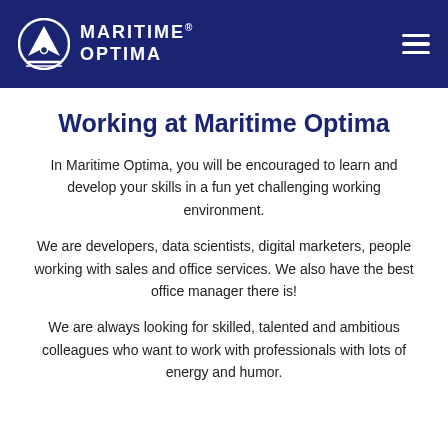MARITIME® OPTIMA
Working at Maritime Optima
In Maritime Optima, you will be encouraged to learn and develop your skills in a fun yet challenging working environment.
We are developers, data scientists, digital marketers, people working with sales and office services. We also have the best office manager there is!
We are always looking for skilled, talented and ambitious colleagues who want to work with professionals with lots of energy and humor.